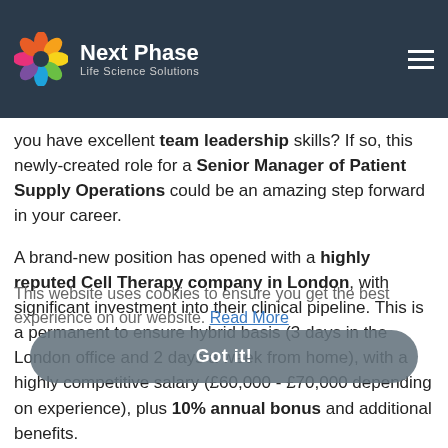Next Phase Life Science Solutions — navigation header
therapy products), and an understanding of the logistics/challenges of supplying personalised cancer therapies to hospitals? Do you have excellent team leadership skills? If so, this newly-created role for a Senior Manager of Patient Supply Operations could be an amazing step forward in your career.
A brand-new position has opened with a highly reputed Cell Therapy company in London, with significant investment into their clinical pipeline. This is a permanent to ensure hybrid basis (3 days in the London office and 2 days a week from home), with a highly competitive salary (£60,000 - £70,000 depending on experience), plus 10% annual bonus and additional benefits.
We are looking for an experienced Senior